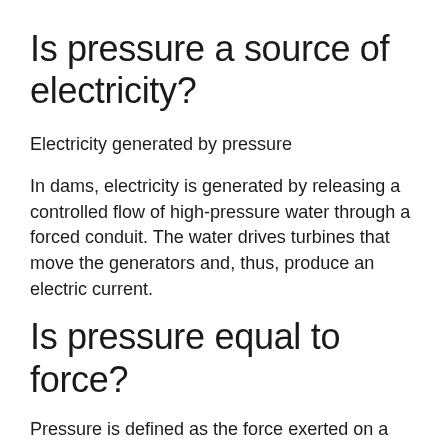Is pressure a source of electricity?
Electricity generated by pressure
In dams, electricity is generated by releasing a controlled flow of high-pressure water through a forced conduit. The water drives turbines that move the generators and, thus, produce an electric current.
Is pressure equal to force?
Pressure is defined as the force exerted on a surface divided by the area over which that force acts. … Since pressure is calculated by dividing force by area, it has units of